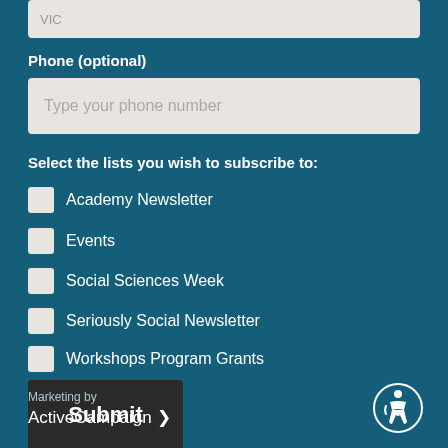VIC
Phone (optional)
Type your phone number
Select the lists you wish to subscribe to:
Academy Newsletter
Events
Social Sciences Week
Seriously Social Newsletter
Workshops Program Grants
Submit
Marketing by ActiveCampaign >